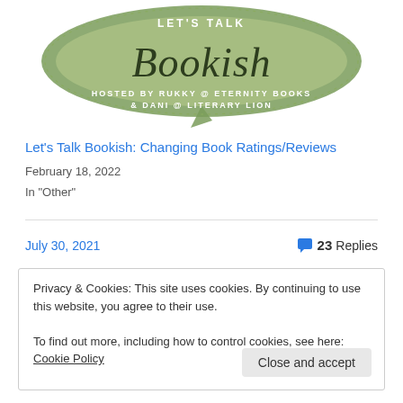[Figure (logo): Let's Talk Bookish banner logo with green speech-bubble shape, cursive 'Bookish' text, 'LET'S TALK' at top, 'HOSTED BY RUKKY @ ETERNITY BOOKS & DANI @ LITERARY LION' below]
Let's Talk Bookish: Changing Book Ratings/Reviews
February 18, 2022
In "Other"
July 30, 2021
23 Replies
Privacy & Cookies: This site uses cookies. By continuing to use this website, you agree to their use.
To find out more, including how to control cookies, see here: Cookie Policy
Close and accept